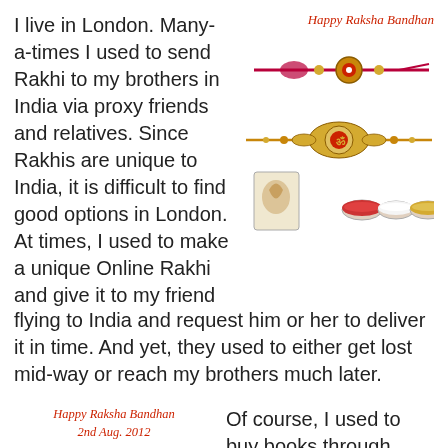I live in London. Many-a-times I used to send Rakhi to my brothers in India via proxy friends and relatives. Since Rakhis are unique to India, it is difficult to find good options in London. At times, I used to make a unique Online Rakhi and give it to my friend flying to India and request him or her to deliver it in time. And yet, they used to either get lost mid-way or reach my brothers much later.
[Figure (photo): Happy Raksha Bandhan decorative rakhis with roli and sweets, caption 'Happy Raksha Bandhan']
[Figure (photo): Happy Raksha Bandhan gift box with dry fruits and Cadbury Dairy Milk chocolates, caption 'Happy Raksha Bandhan 2nd Aug. 2012']
Of course, I used to buy books through Amazon.com or book flight